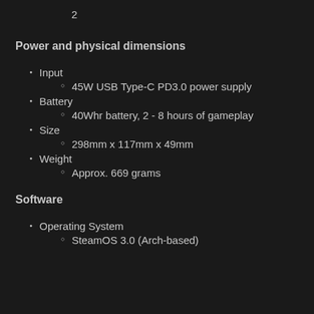2
Power and physical dimensions
Input
45W USB Type-C PD3.0 power supply
Battery
40Whr battery, 2 - 8 hours of gameplay
Size
298mm x 117mm x 49mm
Weight
Approx. 669 grams
Software
Operating System
SteamOS 3.0 (Arch-based)